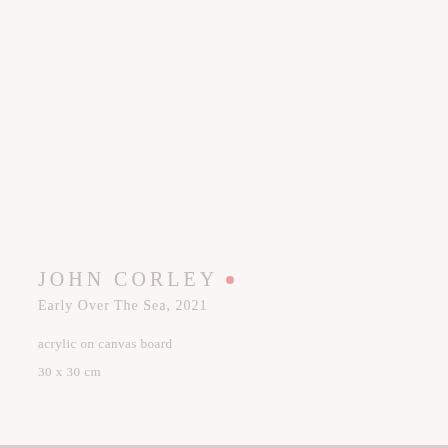JOHN CORLEY
Early Over The Sea, 2021
acrylic on canvas board
30 x 30 cm